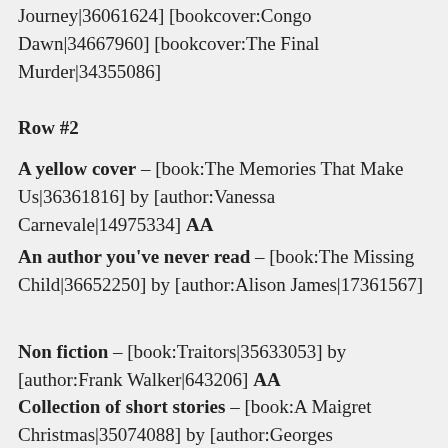Journey|36061624] [bookcover:Congo Dawn|34667960] [bookcover:The Final Murder|34355086]
Row #2
A yellow cover – [book:The Memories That Make Us|36361816] by [author:Vanessa Carnevale|14975334] AA
An author you've never read – [book:The Missing Child|36652250] by [author:Alison James|17361567]
Non fiction – [book:Traitors|35633053] by [author:Frank Walker|643206] AA
Collection of short stories – [book:A Maigret Christmas|35074088] by [author:Georges Simenon|9693]